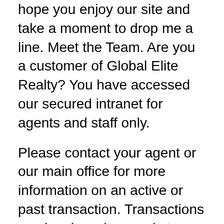hope you enjoy our site and take a moment to drop me a line. Meet the Team. Are you a customer of Global Elite Realty? You have accessed our secured intranet for agents and staff only.
Please contact your agent or our main office for more information on an active or past transaction. Transactions can be shared securely to customers and vendors through the Roundtable system. Patricia Parker with Global Elite Realty. Search homes for FREE! I recommend Global Elite Real Estate School to anyone out there with a drive to learn the veriest parts of the realtor business. Don B., Real Estate Agent As a Real Estate Agent knows, these classes can be too long and too expensive. To my co-workers and myself we were pleasantly surprised.